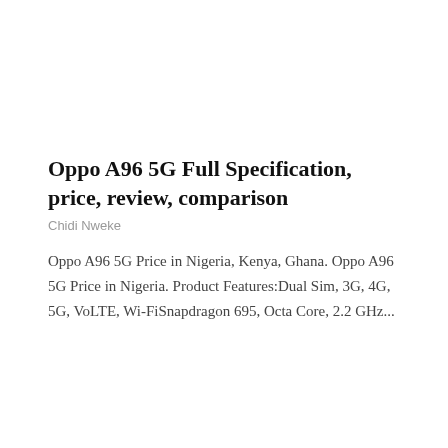Oppo A96 5G Full Specification, price, review, comparison
Chidi Nweke
Oppo A96 5G Price in Nigeria, Kenya, Ghana. Oppo A96 5G Price in Nigeria. Product Features:Dual Sim, 3G, 4G, 5G, VoLTE, Wi-FiSnapdragon 695, Octa Core, 2.2 GHz...